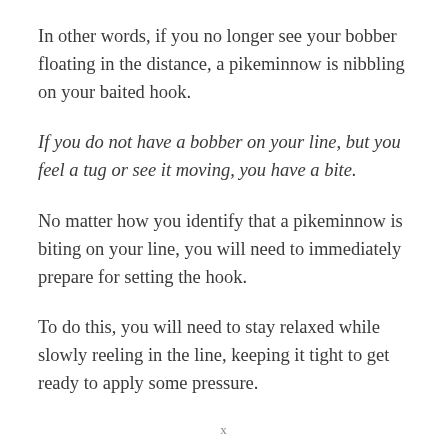In other words, if you no longer see your bobber floating in the distance, a pikeminnow is nibbling on your baited hook.
If you do not have a bobber on your line, but you feel a tug or see it moving, you have a bite.
No matter how you identify that a pikeminnow is biting on your line, you will need to immediately prepare for setting the hook.
To do this, you will need to stay relaxed while slowly reeling in the line, keeping it tight to get ready to apply some pressure.
x